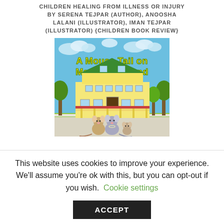CHILDREN HEALING FROM ILLNESS OR INJURY BY SERENA TEJPAR (AUTHOR), ANOOSHA LALANI (ILLUSTRATOR), IMAN TEJPAR (ILLUSTRATOR) {CHILDREN BOOK REVIEW}
[Figure (illustration): Book cover of 'A Mouse Tail on Mackinac Island' showing two cartoon mice standing in front of a large yellow Victorian-style hotel building with a green roof, trees, and a blue sky with clouds. The title is written in large yellow letters.]
This website uses cookies to improve your experience. We'll assume you're ok with this, but you can opt-out if you wish. Cookie settings
ACCEPT